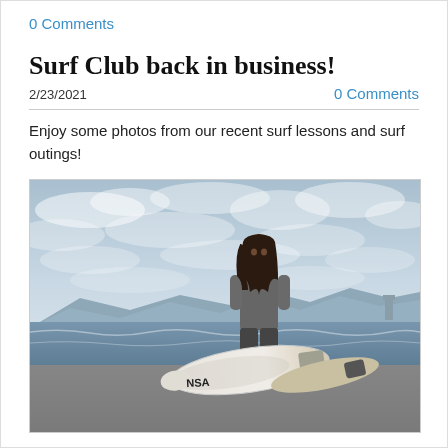0 Comments
Surf Club back in business!
2/23/2021
0 Comments
Enjoy some photos from our recent surf lessons and surf outings!
[Figure (photo): A surfer with long dark hair wearing a gray long-sleeve rash guard, holding a white surfboard, standing on a beach with ocean waves and mountains visible in the background under a cloudy sky.]